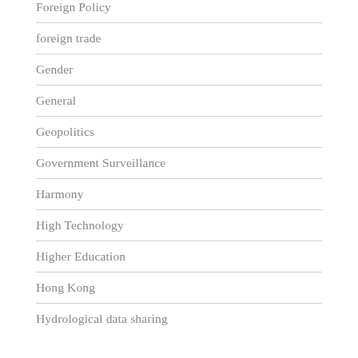Foreign Policy
foreign trade
Gender
General
Geopolitics
Government Surveillance
Harmony
High Technology
Higher Education
Hong Kong
Hydrological data sharing